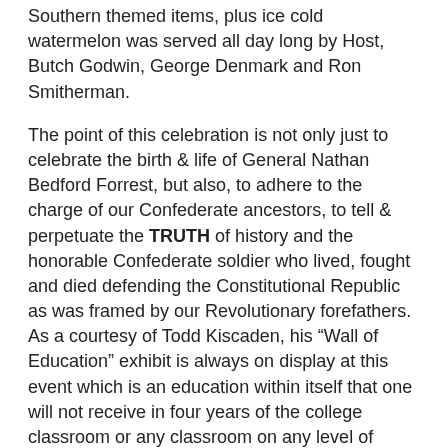Southern themed items, plus ice cold watermelon was served all day long by Host, Butch Godwin, George Denmark and Ron Smitherman.
The point of this celebration is not only just to celebrate the birth & life of General Nathan Bedford Forrest, but also, to adhere to the charge of our Confederate ancestors, to tell & perpetuate the TRUTH of history and the honorable Confederate soldier who lived, fought and died defending the Constitutional Republic as was framed by our Revolutionary forefathers. As a courtesy of Todd Kiscaden, his “Wall of Education” exhibit is always on display at this event which is an education within itself that one will not receive in four years of the college classroom or any classroom on any level of education as history does not seem to be a priority in today’s educational system. This exhibit is a premier feature of this event and everyone enjoys it and benefits greatly from it. As I always tell our guests, “We promise you a HOT JULY day at Fort Dixie filled with a lit’l bit of education, a lit’l bit of entertainment, a lit’l bit of good Southern food and a whole lotta HAPPY when you leave Fort Dixie!